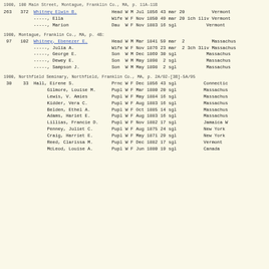1900, 100 Main Street, Montague, Franklin Co., MA, p. 11A-11B
| #1 | #2 | Name | Relation | Race | Sex | Month | Year | Age | Mar | Yrs | Children | Birthplace |
| --- | --- | --- | --- | --- | --- | --- | --- | --- | --- | --- | --- | --- |
| 263 | 372 | Whitney Elwin B. | Head | W | M | Jul | 1856 | 43 | mar | 20 |  | Vermont |
|  |  | -----, Ella | Wife | W | F | Nov | 1850 | 49 | mar | 20 | 1ch 1liv | Vermont |
|  |  | -----, Marion | Dau | W | F | Nov | 1883 | 16 | sgl |  |  | Vermont |
1900, Montague, Franklin Co., MA, p. 4B:
| #1 | #2 | Name | Relation | Race | Sex | Month | Year | Age | Mar | Yrs | Children | Birthplace |
| --- | --- | --- | --- | --- | --- | --- | --- | --- | --- | --- | --- | --- |
| 97 | 102 | Whitney, Ebenezer E. | Head | W | M | Mar | 1841 | 59 | mar | 2 |  | Massachus |
|  |  | -----, Julia A. | Wife | W | F | Nov | 1876 | 23 | mar | 2 | 3ch 3liv | Massachus |
|  |  | -----, George E. | Son | W | M | Dec | 1869 | 30 | sgl |  |  | Massachus |
|  |  | -----, Dewey E. | Son | W | M | May | 1898 | 2 | sgl |  |  | Massachus |
|  |  | -----, Sampson J. | Son | W | M | May | 1898 | 2 | sgl |  |  | Massachus |
1900, Northfield Seminary, Northfield, Franklin Co., MA, p. 2A/92-[3B]-5A/95
| #1 | #2 | Name | Relation | Race | Sex | Month | Year | Age | Mar | Birthplace |
| --- | --- | --- | --- | --- | --- | --- | --- | --- | --- | --- |
| 30 | 33 | Hall, Eirene S. | Prnc | W | F | Dec | 1856 | 43 | sgl | Connectic |
|  |  | Gilmore, Louise M. | Pupl | W | F | Mar | 1880 | 20 | sgl | Massachus |
|  |  | Lewis, V. Amies | Pupl | W | F | May | 1884 | 16 | sgl | Massachus |
|  |  | Kidder, Vera C. | Pupl | W | F | Aug | 1883 | 16 | sgl | Massachus |
|  |  | Belden, Ethel A. | Pupl | W | F | Oct | 1885 | 14 | sgl | Massachus |
|  |  | Adams, Hariet E. | Pupl | W | F | Aug | 1883 | 16 | sgl | Massachus |
|  |  | Lillias, Francie D. | Pupl | W | F | Nov | 1882 | 17 | sgl | Jamaica W |
|  |  | Penney, Juliet C. | Pupl | W | F | Aug | 1875 | 24 | sgl | New York |
|  |  | Craig, Harriet E. | Pupl | W | F | May | 1871 | 29 | sgl | New York |
|  |  | Reed, Clarissa M. | Pupl | W | F | Dec | 1882 | 17 | sgl | Vermont |
|  |  | McLeod, Louise A. | Pupl | W | F | Jun | 1880 | 19 | sgl | Canada |